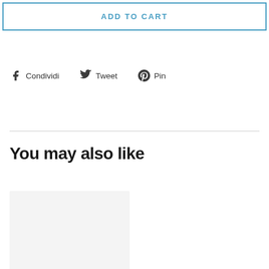ADD TO CART
Condividi  Tweet  Pin
You may also like
[Figure (photo): Product thumbnail placeholder image with light gray background]